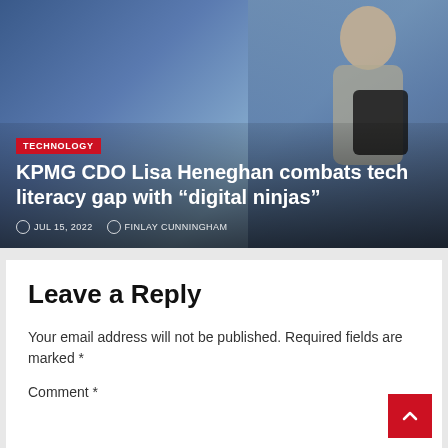[Figure (photo): Hero image of a smiling man holding a dark laptop, with blue-toned background. Overlaid with article title, category badge, date and author.]
KPMG CDO Lisa Heneghan combats tech literacy gap with “digital ninjas”
JUL 15, 2022   FINLAY CUNNINGHAM
Leave a Reply
Your email address will not be published. Required fields are marked *
Comment *